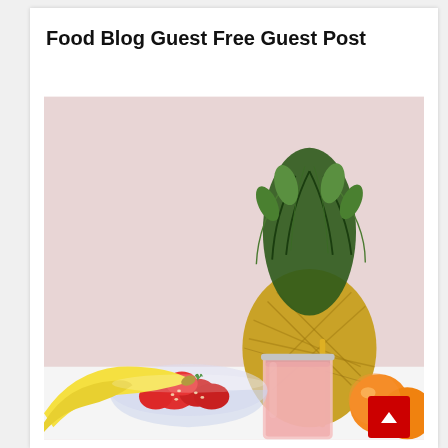Food Blog Guest Free Guest Post
[Figure (photo): A photo of fresh fruits on a white table against a pink background, featuring a pineapple, a glass bowl of strawberries, a pink smoothie in a mason jar with a gold straw, bananas, and oranges.]